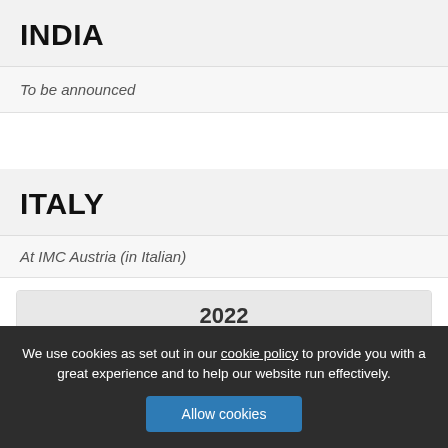INDIA
To be announced
ITALY
At IMC Austria (in Italian)
| FROM | TO | TEACHER |
| --- | --- | --- |
We use cookies as set out in our cookie policy to provide you with a great experience and to help our website run effectively.
Allow cookies